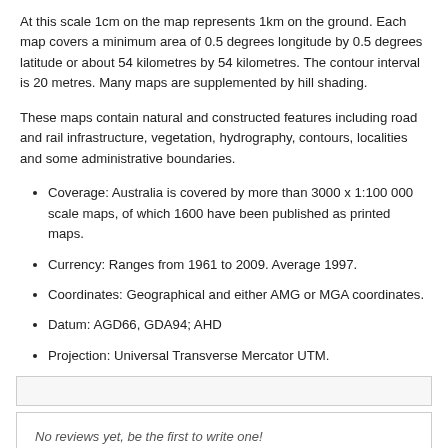At this scale 1cm on the map represents 1km on the ground. Each map covers a minimum area of 0.5 degrees longitude by 0.5 degrees latitude or about 54 kilometres by 54 kilometres. The contour interval is 20 metres. Many maps are supplemented by hill shading.
These maps contain natural and constructed features including road and rail infrastructure, vegetation, hydrography, contours, localities and some administrative boundaries.
Coverage: Australia is covered by more than 3000 x 1:100 000 scale maps, of which 1600 have been published as printed maps.
Currency: Ranges from 1961 to 2009. Average 1997.
Coordinates: Geographical and either AMG or MGA coordinates.
Datum: AGD66, GDA94; AHD
Projection: Universal Transverse Mercator UTM.
No reviews yet, be the first to write one!
ADD A REVIEW FOR '2553 WITTENOOM WA TOPOGRAPHIC MAP (2ND EDITION) BY GEOSCIENCE AUSTRALIA (1990):